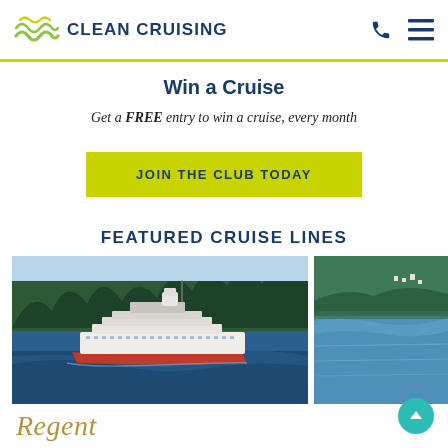CLEAN CRUISING
Win a Cruise
Get a FREE entry to win a cruise, every month
JOIN THE CLUB TODAY
FEATURED CRUISE LINES
[Figure (photo): Aerial view of a large cruise ship sailing in calm blue water surrounded by forested shoreline]
[Figure (photo): Partial aerial view of coastline with green land and water]
Regent